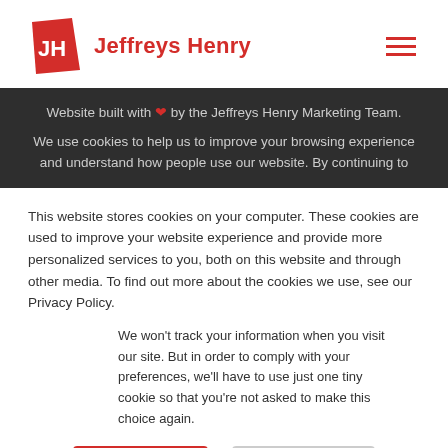[Figure (logo): Jeffreys Henry logo with red shield icon and red text reading Jeffreys Henry]
Website built with ❤ by the Jeffreys Henry Marketing Team.
We use cookies to help us to improve your browsing experience and understand how people use our website. By continuing to
This website stores cookies on your computer. These cookies are used to improve your website experience and provide more personalized services to you, both on this website and through other media. To find out more about the cookies we use, see our Privacy Policy.
We won't track your information when you visit our site. But in order to comply with your preferences, we'll have to use just one tiny cookie so that you're not asked to make this choice again.
Accept
Decline